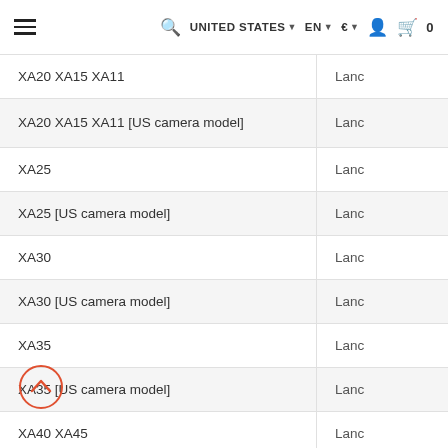UNITED STATES ▾ EN ▾ € ▾ [user icon] [bag icon] 0
| Model | Connection |
| --- | --- |
| XA20 XA15 XA11 | Lanc |
| XA20 XA15 XA11 [US camera model] | Lanc |
| XA25 | Lanc |
| XA25 [US camera model] | Lanc |
| XA30 | Lanc |
| XA30 [US camera model] | Lanc |
| XA35 | Lanc |
| XA35 [US camera model] | Lanc |
| XA40 XA45 | Lanc |